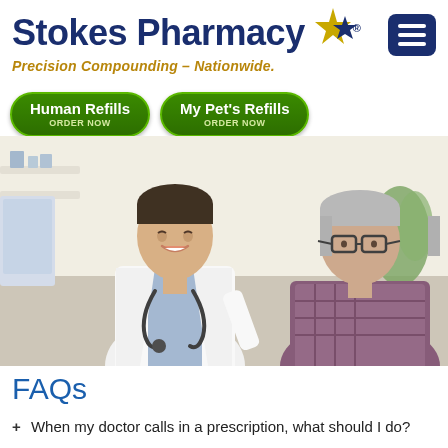[Figure (logo): Stokes Pharmacy logo with two stars (gold and dark blue) and tagline 'Precision Compounding – Nationwide.' alongside a dark blue hamburger menu icon]
[Figure (other): Two green pill-shaped buttons: 'Human Refills ORDER NOW' and 'My Pet's Refills ORDER NOW']
[Figure (photo): Photo of a smiling young male doctor in white coat with stethoscope consulting with an older male patient wearing glasses and a plaid shirt, in a bright clinical setting]
FAQs
+ When my doctor calls in a prescription, what should I do?